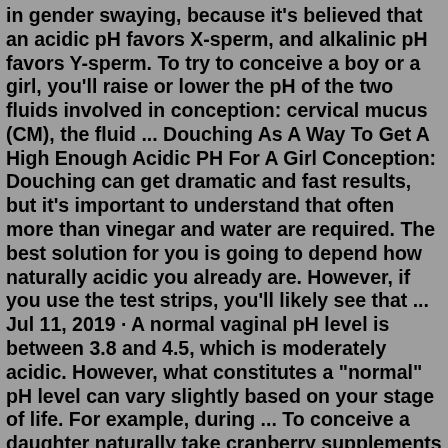in gender swaying, because it's believed that an acidic pH favors X-sperm, and alkalinic pH favors Y-sperm. To try to conceive a boy or a girl, you'll raise or lower the pH of the two fluids involved in conception: cervical mucus (CM), the fluid ... Douching As A Way To Get A High Enough Acidic PH For A Girl Conception: Douching can get dramatic and fast results, but it's important to understand that often more than vinegar and water are required. The best solution for you is going to depend how naturally acidic you already are. However, if you use the test strips, you'll likely see that ... Jul 11, 2019 · A normal vaginal pH level is between 3.8 and 4.5, which is moderately acidic. However, what constitutes a "normal" pH level can vary slightly based on your stage of life. For example, during ... To conceive a daughter naturally take cranberry supplements There a some supplements that do help a woman increase the likelihood of getting a female. Through research, many women think that decreasing the pH content is all-important. When the pH level is very low, it makes